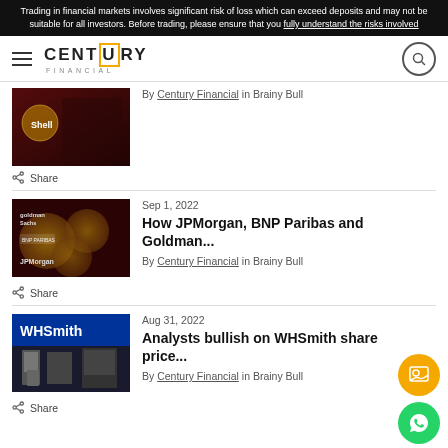Trading in financial markets involves significant risk of loss which can exceed deposits and may not be suitable for all investors. Before trading, please ensure that you fully understand the risks involved
[Figure (logo): Century Financial logo with hamburger menu and search icon]
[Figure (photo): Dark red background with Shell logo and financial imagery]
By Century Financial in Brainy Bull
Share
Sep 1, 2022
How JPMorgan, BNP Paribas and Goldman...
By Century Financial in Brainy Bull
Share
Aug 31, 2022
Analysts bullish on WHSmith share price...
By Century Financial in Brainy Bull
Share